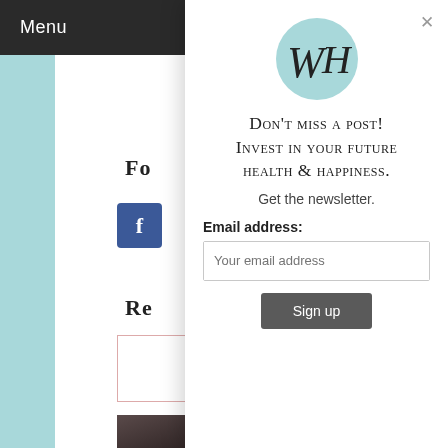Menu
[Figure (logo): WH monogram logo in a teal circle]
Don't miss a post! Invest in your future health & happiness.
Get the newsletter.
Email address:
Your email address
Sign up